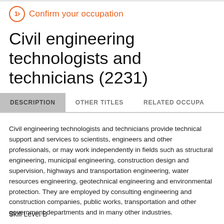1 Confirm your occupation
Civil engineering technologists and technicians (2231)
DESCRIPTION  OTHER TITLES  RELATED OCCUPATIONS
Civil engineering technologists and technicians provide technical support and services to scientists, engineers and other professionals, or may work independently in fields such as structural engineering, municipal engineering, construction design and supervision, highways and transportation engineering, water resources engineering, geotechnical engineering and environmental protection. They are employed by consulting engineering and construction companies, public works, transportation and other government departments and in many other industries.
Skill Level B